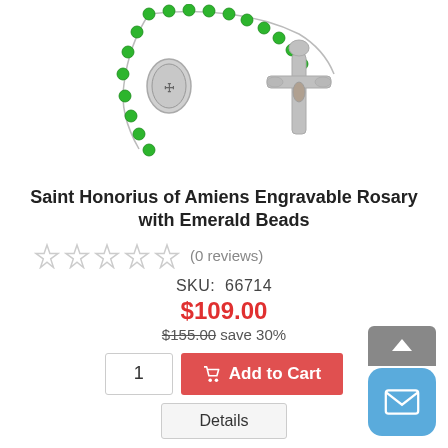[Figure (photo): Rosary with green emerald beads and silver crucifix and saint medallion center piece]
Saint Honorius of Amiens Engravable Rosary with Emerald Beads
(0 reviews)
SKU: 66714
$109.00
$155.00 save 30%
1 Add to Cart
Details